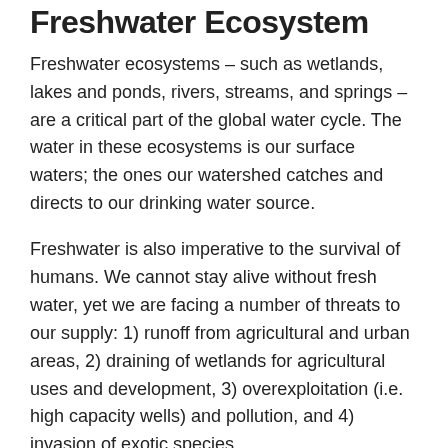Freshwater Ecosystem
Freshwater ecosystems – such as wetlands, lakes and ponds, rivers, streams, and springs – are a critical part of the global water cycle. The water in these ecosystems is our surface waters; the ones our watershed catches and directs to our drinking water source.
Freshwater is also imperative to the survival of humans. We cannot stay alive without fresh water, yet we are facing a number of threats to our supply: 1) runoff from agricultural and urban areas, 2) draining of wetlands for agricultural uses and development, 3) overexploitation (i.e. high capacity wells) and pollution, and 4) invasion of exotic species.
All freshwater ultimately depends on the continued